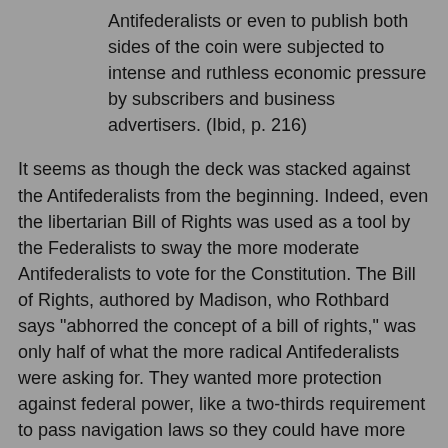Antifederalists or even to publish both sides of the coin were subjected to intense and ruthless economic pressure by subscribers and business advertisers. (Ibid, p. 216)
It seems as though the deck was stacked against the Antifederalists from the beginning. Indeed, even the libertarian Bill of Rights was used as a tool by the Federalists to sway the more moderate Antifederalists to vote for the Constitution. The Bill of Rights, authored by Madison, who Rothbard says "abhorred the concept of a bill of rights," was only half of what the more radical Antifederalists were asking for. They wanted more protection against federal power, like a two-thirds requirement to pass navigation laws so they could have more votes to prevent American merchants from parroting British ones. Rothbard points out that there were around 210 amendments proposed by the states throughout the ratification proceedings, most of which had to do with blocking federal taxing power, removing mercantilist protections for the elite, and guaranteeing personal liberties. But by conceding a bill of rights, the Federalists won out and got everything else they wanted: a large standing army, the